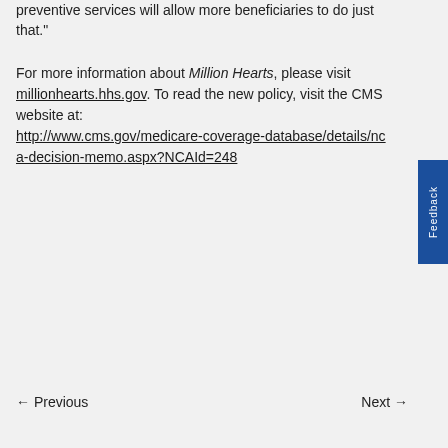Medicare's new cardiovascular disease preventive services will allow more beneficiaries to do just that."
For more information about Million Hearts, please visit millionhearts.hhs.gov. To read the new policy, visit the CMS website at: http://www.cms.gov/medicare-coverage-database/details/nca-decision-memo.aspx?NCAId=248
← Previous    Next →